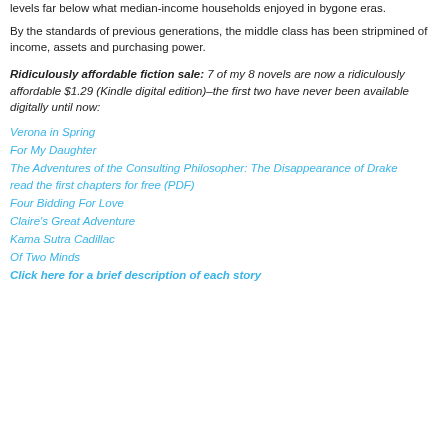levels far below what median-income households enjoyed in bygone eras.
By the standards of previous generations, the middle class has been stripmined of income, assets and purchasing power.
Ridiculously affordable fiction sale: 7 of my 8 novels are now a ridiculously affordable $1.29 (Kindle digital edition)–the first two have never been available digitally until now:
Verona in Spring
For My Daughter
The Adventures of the Consulting Philosopher: The Disappearance of Drake
read the first chapters for free (PDF)
Four Bidding For Love
Claire's Great Adventure
Kama Sutra Cadillac
Of Two Minds
Click here for a brief description of each story